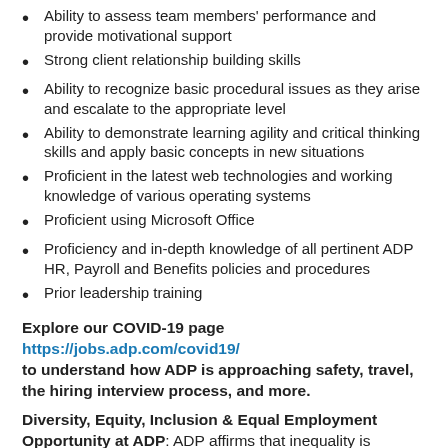Ability to assess team members' performance and provide motivational support
Strong client relationship building skills
Ability to recognize basic procedural issues as they arise and escalate to the appropriate level
Ability to demonstrate learning agility and critical thinking skills and apply basic concepts in new situations
Proficient in the latest web technologies and working knowledge of various operating systems
Proficient using Microsoft Office
Proficiency and in-depth knowledge of all pertinent ADP HR, Payroll and Benefits policies and procedures
Prior leadership training
Explore our COVID-19 page https://jobs.adp.com/covid19/ to understand how ADP is approaching safety, travel, the hiring interview process, and more.
Diversity, Equity, Inclusion & Equal Employment Opportunity at ADP: ADP affirms that inequality is detrimental to our associates, our clients, and the communities we serve. Our